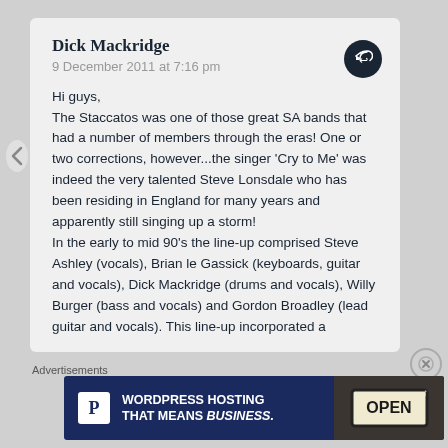Dick Mackridge
9 December 2011 at 7:16 pm
Hi guys,
The Staccatos was one of those great SA bands that had a number of members through the eras! One or two corrections, however...the singer ‘Cry to Me’ was indeed the very talented Steve Lonsdale who has been residing in England for many years and apparently still singing up a storm!
In the early to mid 90’s the line-up comprised Steve Ashley (vocals), Brian le Gassick (keyboards, guitar and vocals), Dick Mackridge (drums and vocals), Willy Burger (bass and vocals) and Gordon Broadley (lead guitar and vocals). This line-up incorporated a
Advertisements
[Figure (screenshot): WordPress Hosting advertisement banner with logo P, text WORDPRESS HOSTING THAT MEANS BUSINESS. and an OPEN sign image on right]